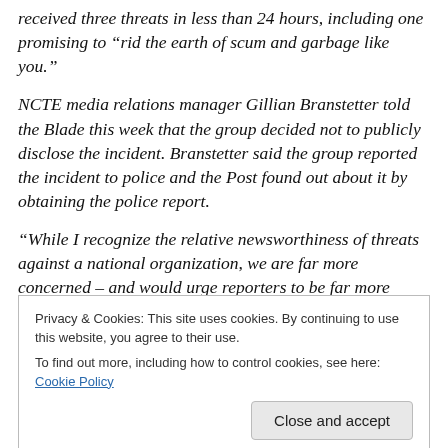received three threats in less than 24 hours, including one promising to “rid the earth of scum and garbage like you.”
NCTE media relations manager Gillian Branstetter told the Blade this week that the group decided not to publicly disclose the incident. Branstetter said the group reported the incident to police and the Post found out about it by obtaining the police report.
“While I recognize the relative newsworthiness of threats against a national organization, we are far more concerned – and would urge reporters to be far more
Privacy & Cookies: This site uses cookies. By continuing to use this website, you agree to their use.
To find out more, including how to control cookies, see here: Cookie Policy
here....